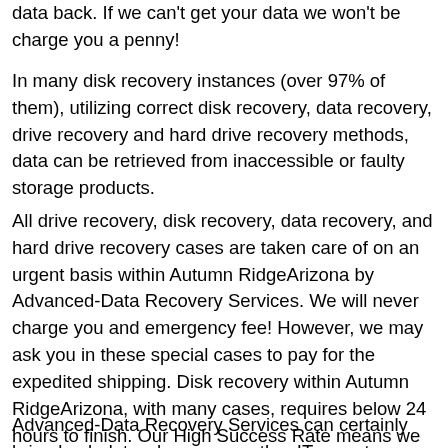data back. If we can't get your data we won't be charge you a penny!
In many disk recovery instances (over 97% of them), utilizing correct disk recovery, data recovery, drive recovery and hard drive recovery methods, data can be retrieved from inaccessible or faulty storage products.
All drive recovery, disk recovery, data recovery, and hard drive recovery cases are taken care of on an urgent basis within Autumn RidgeArizona by Advanced-Data Recovery Services. We will never charge you and emergency fee! However, we may ask you in these special cases to pay for the expedited shipping. Disk recovery within Autumn RidgeArizona, with many cases, requires below 24 hours to finish. Our High Success Rate means we average an over 90% success rate with all disk recovery, disk recovery, drive recovery and hard drive recovery work within Autumn RidgeArizona!
Advanced-Data Recovery Services can certainly bring back data where some other IT experts or leading disk recovery